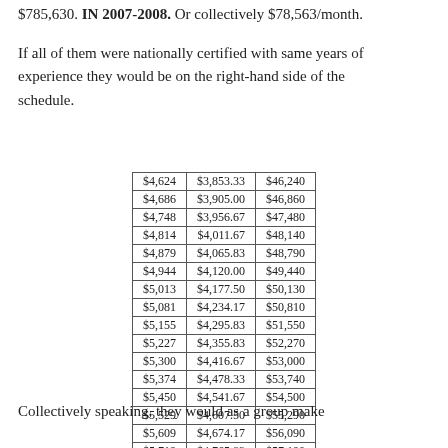$785,630. IN 2007-2008. Or collectively $78,563/month.
If all of them were nationally certified with same years of experience they would be on the right-hand side of the schedule.
| $4,624 | $3,853.33 | $46,240 |
| $4,686 | $3,905.00 | $46,860 |
| $4,748 | $3,956.67 | $47,480 |
| $4,814 | $4,011.67 | $48,140 |
| $4,879 | $4,065.83 | $48,790 |
| $4,944 | $4,120.00 | $49,440 |
| $5,013 | $4,177.50 | $50,130 |
| $5,081 | $4,234.17 | $50,810 |
| $5,155 | $4,295.83 | $51,550 |
| $5,227 | $4,355.83 | $52,270 |
| $5,300 | $4,416.67 | $53,000 |
| $5,374 | $4,478.33 | $53,740 |
| $5,450 | $4,541.67 | $54,500 |
| $5,529 | $4,607.50 | $55,290 |
| $5,609 | $4,674.17 | $56,090 |
| $5,719 | $4,765.83 | $57,190 |
| $5,833 | $4,860.83 | $58,330 |
Collectively speaking, they would as a group make